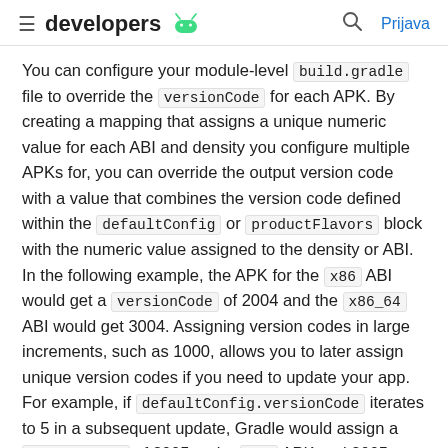developers [android logo] | Q | Prijava
You can configure your module-level build.gradle file to override the versionCode for each APK. By creating a mapping that assigns a unique numeric value for each ABI and density you configure multiple APKs for, you can override the output version code with a value that combines the version code defined within the defaultConfig or productFlavors block with the numeric value assigned to the density or ABI.
In the following example, the APK for the x86 ABI would get a versionCode of 2004 and the x86_64 ABI would get 3004. Assigning version codes in large increments, such as 1000, allows you to later assign unique version codes if you need to update your app. For example, if defaultConfig.versionCode iterates to 5 in a subsequent update, Gradle would assign a versionCode of 2005 to the x86 APK and 3005 to the x86_64 APK.